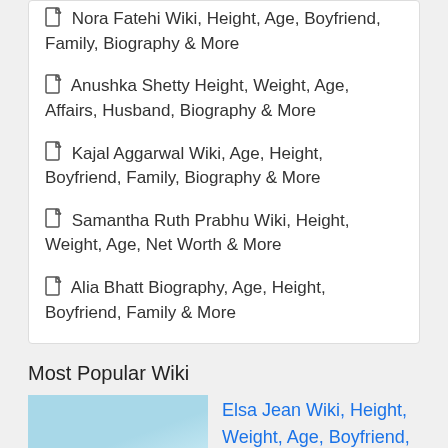Nora Fatehi Wiki, Height, Age, Boyfriend, Family, Biography & More
Anushka Shetty Height, Weight, Age, Affairs, Husband, Biography & More
Kajal Aggarwal Wiki, Age, Height, Boyfriend, Family, Biography & More
Samantha Ruth Prabhu Wiki, Height, Weight, Age, Net Worth & More
Alia Bhatt Biography, Age, Height, Boyfriend, Family & More
Most Popular Wiki
Elsa Jean Wiki, Height, Weight, Age, Boyfriend, Biography & More